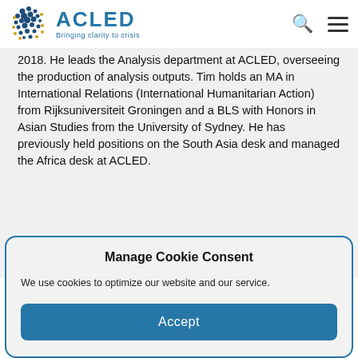ACLED — Bringing clarity to crisis
2018. He leads the Analysis department at ACLED, overseeing the production of analysis outputs. Tim holds an MA in International Relations (International Humanitarian Action) from Rijksuniversiteit Groningen and a BLS with Honors in Asian Studies from the University of Sydney. He has previously held positions on the South Asia desk and managed the Africa desk at ACLED.
Manage Cookie Consent
We use cookies to optimize our website and our service.
Accept